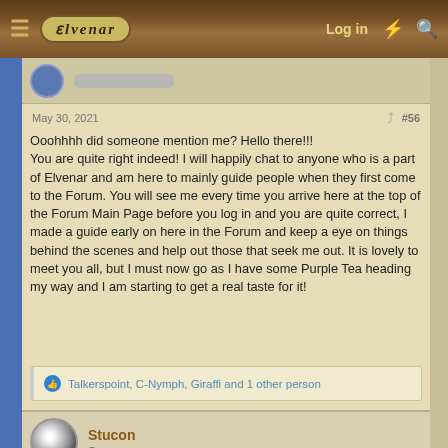Elvenar | Log in
May 30, 2021  #56
Ooohhhh did someone mention me? Hello there!!! You are quite right indeed! I will happily chat to anyone who is a part of Elvenar and am here to mainly guide people when they first come to the Forum. You will see me every time you arrive here at the top of the Forum Main Page before you log in and you are quite correct, I made a guide early on here in the Forum and keep a eye on things behind the scenes and help out those that seek me out. It is lovely to meet you all, but I must now go as I have some Purple Tea heading my way and I am starting to get a real taste for it!
Talkerspoint, C-Nymph, Giraffi and 1 other person
Stucon
Sorcerer